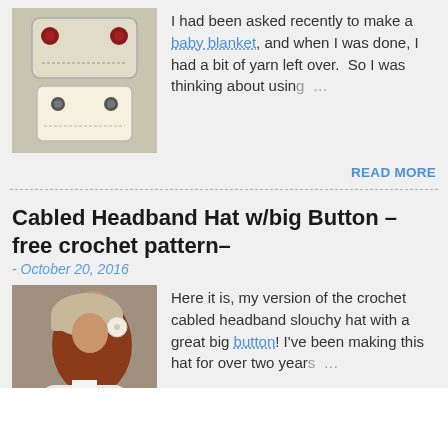[Figure (photo): Photo of crochet baby diaper cover items in beige and white with red buttons]
I had been asked recently to make a baby blanket, and when I was done, I had a bit of yarn left over. So I was thinking about using …
READ MORE
Cabled Headband Hat w/big Button – free crochet pattern–
- October 20, 2016
[Figure (photo): Photo of a woman wearing a crochet cabled headband slouchy hat with a large white button]
Here it is, my version of the crochet cabled headband slouchy hat with a great big button! I've been making this hat for over two years …
READ MORE